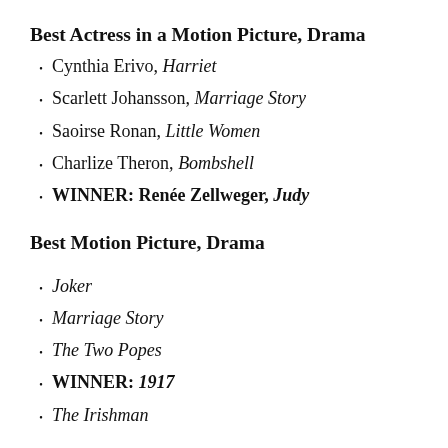Best Actress in a Motion Picture, Drama
Cynthia Erivo, Harriet
Scarlett Johansson, Marriage Story
Saoirse Ronan, Little Women
Charlize Theron, Bombshell
WINNER: Renée Zellweger, Judy
Best Motion Picture, Drama
Joker
Marriage Story
The Two Popes
WINNER: 1917
The Irishman